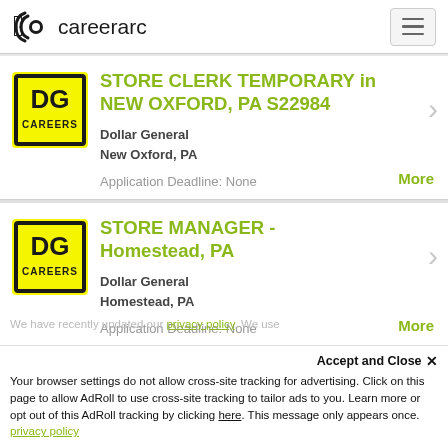careerarc
STORE CLERK TEMPORARY in NEW OXFORD, PA S22984
Dollar General
New Oxford, PA
Application Deadline: None
STORE MANAGER - Homestead, PA
Dollar General
Homestead, PA
Application Deadline: None
Your browser settings do not allow cross-site tracking for advertising. Click on this page to allow AdRoll to use cross-site tracking to tailor ads to you. Learn more or opt out of this AdRoll tracking by clicking here. This message only appears once.